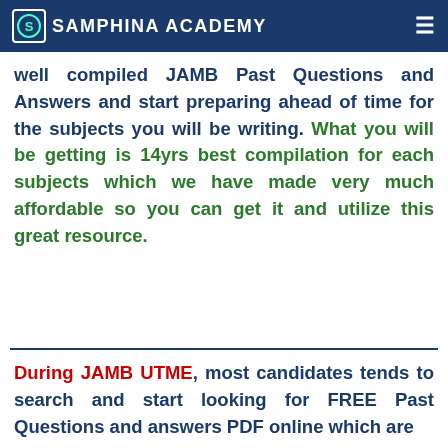Samphina Academy
well compiled JAMB Past Questions and Answers and start preparing ahead of time for the subjects you will be writing. What you will be getting is 14yrs best compilation for each subjects which we have made very much affordable so you can get it and utilize this great resource.
During JAMB UTME, most candidates tends to search and start looking for FREE Past Questions and answers PDF online which are